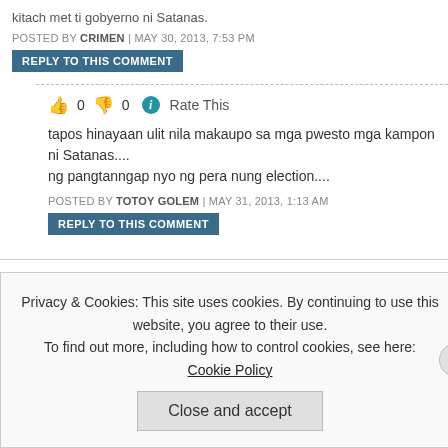kitach met ti gobyerno ni Satanas.
POSTED BY CRIMEN | MAY 30, 2013, 7:53 PM
REPLY TO THIS COMMENT
👍 0 👎 0 ℹ Rate This
tapos hinayaan ulit nila makaupo sa mga pwesto mga kampon ni Satanas.... ng pangtanngap nyo ng pera nung election....
POSTED BY TOTOY GOLEM | MAY 31, 2013, 1:13 AM
REPLY TO THIS COMMENT
👍 0 👎 0 ℹ Rate This
YAN SI EDWIN CRISOLOGO LAGI YAN MASTERMIND SA MGA AMBUSH NA KAPITAN ROMERO GUYANG.SATANAS TALAGA YAN
Privacy & Cookies: This site uses cookies. By continuing to use this website, you agree to their use. To find out more, including how to control cookies, see here: Cookie Policy
Close and accept